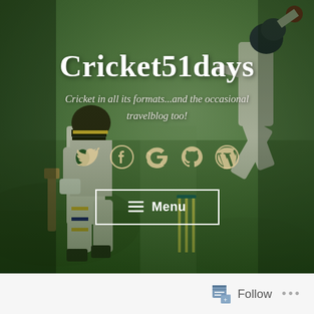[Figure (photo): Cricket match photo showing a batsman in white cricket gear with helmet in the foreground and a bowler mid-delivery in the background, on a green cricket ground]
Cricket51days
Cricket in all its formats...and the occasional travelblog too!
[Figure (infographic): Row of social media icons: Twitter, Facebook, Google, GitHub, WordPress in golden/cream color]
☰ Menu
Follow ...